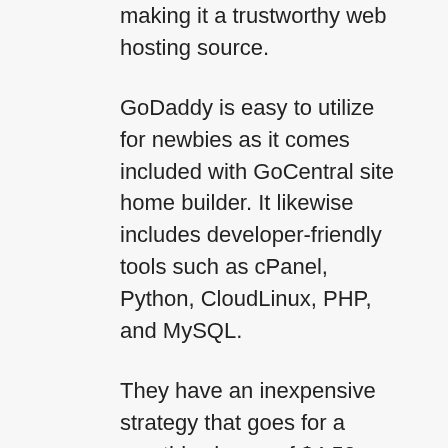making it a trustworthy web hosting source.
GoDaddy is easy to utilize for newbies as it comes included with GoCentral site home builder. It likewise includes developer-friendly tools such as cPanel, Python, CloudLinux, PHP, and MySQL.
They have an inexpensive strategy that goes for a monthly charge of $4.50 and a regular monthly renewal cost of $8.99. For innovative convenience, the webhosting plan comes including DDOS protection, unmetered bandwidth, and a 100 GB site storage. This cheap plan has upsold as it does not include website backups, email accounts, and SSL certificates.